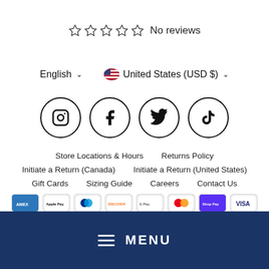☆ ☆ ☆ ☆ ☆  No reviews
English ∨   🇺🇸 United States (USD $) ∨
[Figure (illustration): Row of four circular social media icons: Instagram, Facebook, Twitter, TikTok]
Store Locations & Hours    Returns Policy
Initiate a Return (Canada)    Initiate a Return (United States)
Gift Cards    Sizing Guide    Careers    Contact Us
[Figure (illustration): Row of payment method logos: Amex, Apple Pay, Mastercard (PayPal?), Discover, Google Pay, Mastercard, Shop Pay, Visa]
≡  MENU